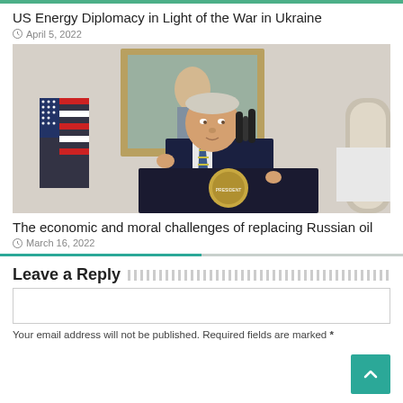US Energy Diplomacy in Light of the War in Ukraine
April 5, 2022
[Figure (photo): A person speaking at a podium with the Presidential seal, with an American flag and a painting visible in the background.]
The economic and moral challenges of replacing Russian oil
March 16, 2022
Leave a Reply
Your email address will not be published. Required fields are marked *